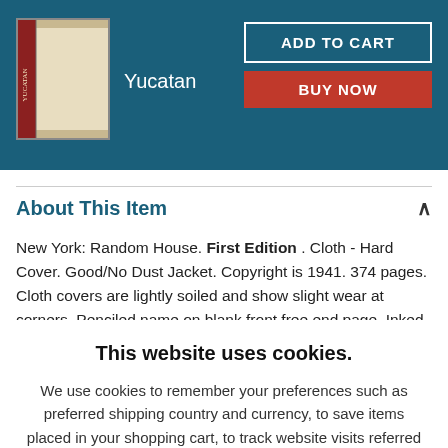[Figure (photo): Book cover image of Yucatan, showing a red and beige hardcover book spine]
Yucatan
ADD TO CART
BUY NOW
About This Item
New York: Random House. First Edition. Cloth - Hard Cover. Good/No Dust Jacket. Copyright is 1941. 374 pages. Cloth covers are lightly soiled and show slight wear at corners. Penciled name on blank front free end page. Inked name on title page with first edition note near the Y in title. Cloth...
This website uses cookies.
We use cookies to remember your preferences such as preferred shipping country and currency, to save items placed in your shopping cart, to track website visits referred from our advertising partners, and to analyze our website traffic. Manage your privacy settings.
AGREE AND CLOSE